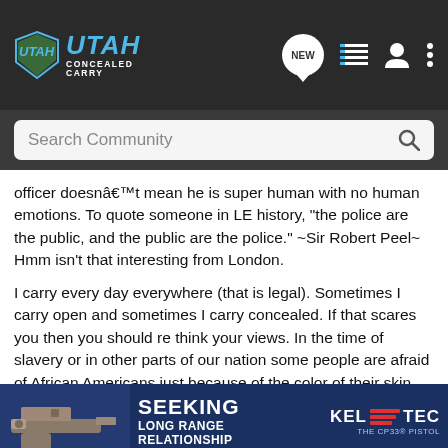[Figure (screenshot): Utah Concealed Carry website header with logo, NEW speech bubble icon, list icon, user icon, and dots menu icon on dark background]
[Figure (screenshot): Search Community search bar on dark background]
officer doesnâ€™t mean he is super human with no human emotions. To quote someone in LE history, "the police are the public, and the public are the police." ~Sir Robert Peel~ Hmm isn't that interesting from London.
I carry every day everywhere (that is legal). Sometimes I carry open and sometimes I carry concealed. If that scares you then you should re think your views. In the time of slavery or in other parts of our nation some people are afraid of African Americans just because of the color of their skin. How is this any different than someone afraid of me because I chose to excursive my right to open carry? Have you ever seen a criminal open carry? (Unless they were firing) Didn't think so. I am scared of spiders so if i ev                                                          will call the polic                                                           ce
[Figure (screenshot): Kel-Tec CP33 pistol advertisement banner with text SEEKING LONG RANGE RELATIONSHIP and KEL TEC logo and THE CP33 PISTOL text on dark blue background]